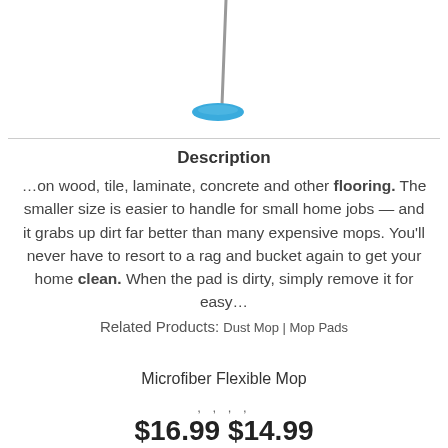[Figure (illustration): Illustration of a microfiber flexible mop with blue head and long grey handle]
Description
…on wood, tile, laminate, concrete and other flooring. The smaller size is easier to handle for small home jobs — and it grabs up dirt far better than many expensive mops. You'll never have to resort to a rag and bucket again to get your home clean. When the pad is dirty, simply remove it for easy…
Related Products: Dust Mop | Mop Pads
Microfiber Flexible Mop
, , , ,
$16.99 $14.99